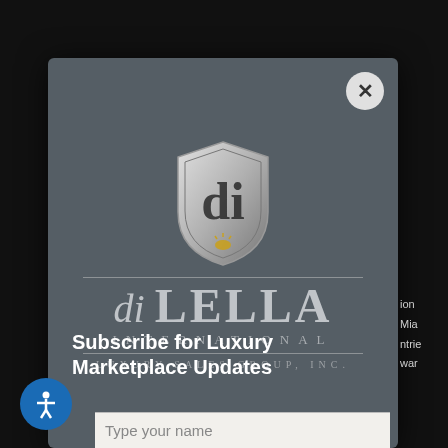[Figure (logo): di LELLA INTERNATIONAL LUXURY SALES GROUP, INC. logo — shield emblem with stylized 'dl' monogram above large brand name text on dark gray background]
Subscribe for Luxury Marketplace Updates
Type your name